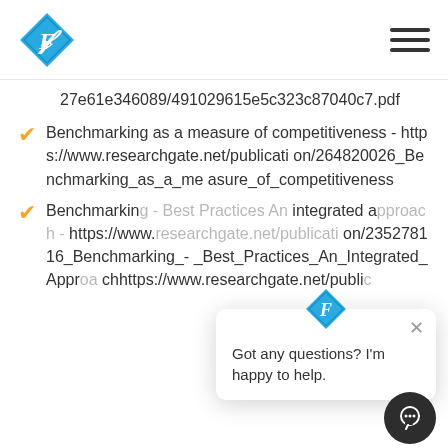[Figure (logo): Blue diamond-shaped logo with white letter F inside, site navigation bar with hamburger menu icon]
27e61e346089/491029615e5c323c87040c7.pdf
Benchmarking as a measure of competitiveness - https://www.researchgate.net/publication/264820026_Benchmarking_as_a_measure_of_competitiveness
Benchmarking - Best Practices An Integrated Approach - https://www.researchgate.net/publication/235278116_Benchmarking_-_Best_Practices_An_Integrated_Approachhttps://www.researchgate.net/publi
[Figure (screenshot): Chat popup overlay with blue diamond logo at top, X close button, and text 'Got any questions? I'm happy to help.' with dark circular chat button at bottom right]